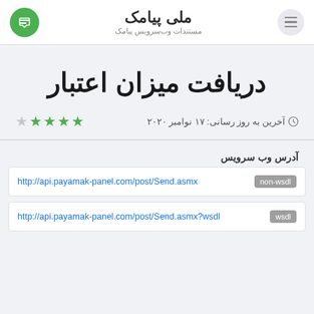ملی پیامک — مستندات وب‌سرویس پیامک
دریافت میزان اعتبار
آخرین به روز رسانی: ۱۷ نوامبر ۲۰۲۰
آدرس وب سرویس
http://api.payamak-panel.com/post/Send.asmx — non-wsdl
http://api.payamak-panel.com/post/Send.asmx?wsdl — wsdl